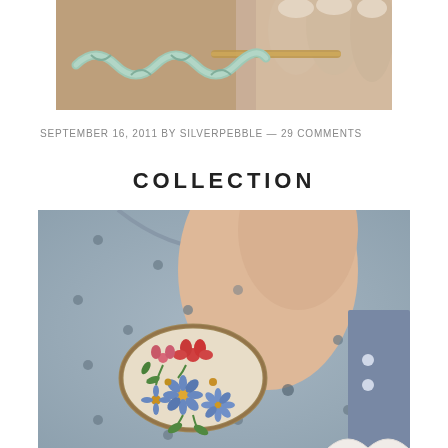[Figure (photo): Close-up photo of hands crocheting with pale mint/green yarn and a wooden crochet hook, showing a chain stitch in progress.]
SEPTEMBER 16, 2011 BY SILVERPEBBLE — 29 COMMENTS
COLLECTION
[Figure (photo): Close-up photo of a person wearing a grey polka-dot sweater with an oval embroidered brooch pinned to it. The brooch features hand-embroidered blue daisies, red poppies, and green leaves on a natural linen background.]